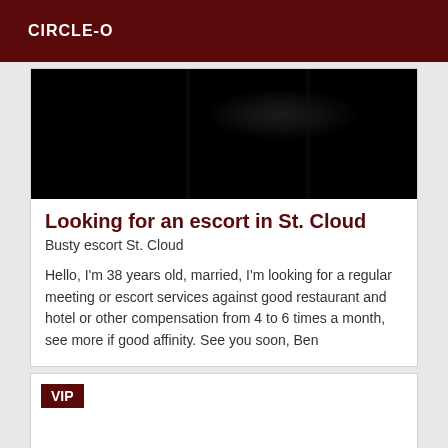CIRCLE-O
[Figure (photo): Dark, nearly black photograph used as a card header image]
Looking for an escort in St. Cloud
Busty escort St. Cloud
Hello, I'm 38 years old, married, I'm looking for a regular meeting or escort services against good restaurant and hotel or other compensation from 4 to 6 times a month, see more if good affinity. See you soon, Ben
VIP